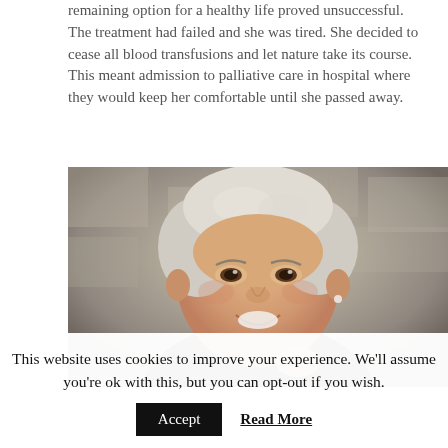remaining option for a healthy life proved unsuccessful. The treatment had failed and she was tired. She decided to cease all blood transfusions and let nature take its course. This meant admission to palliative care in hospital where they would keep her comfortable until she passed away.
[Figure (photo): An elderly woman with short white/silver hair, smiling broadly, wearing a black top and pearl necklace, photographed against a weathered stone/concrete wall background.]
This website uses cookies to improve your experience. We'll assume you're ok with this, but you can opt-out if you wish.
Accept  Read More